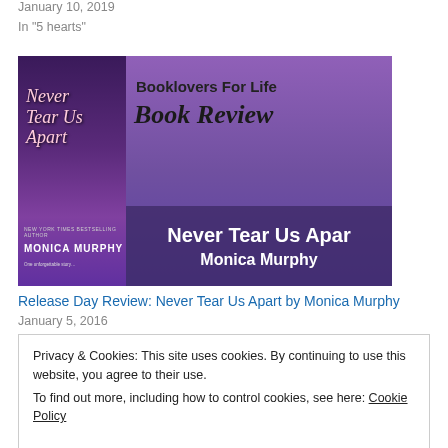January 10, 2019
In "5 hearts"
[Figure (illustration): Book banner for 'Never Tear Us Apart' by Monica Murphy. Purple gradient background. Left side shows a dark book cover with the title 'Never Tear Us Apart' in italic pink/white script and 'MONICA MURPHY' in bold white text. Right side shows 'Booklovers For Life' in bold sans-serif and 'Book Review' in large italic script. A dark purple bar at the bottom right reads 'Never Tear Us Apart' and 'Monica Murphy' in white bold text.]
Release Day Review: Never Tear Us Apart by Monica Murphy
January 5, 2016
Privacy & Cookies: This site uses cookies. By continuing to use this website, you agree to their use.
To find out more, including how to control cookies, see here: Cookie Policy
Close and accept